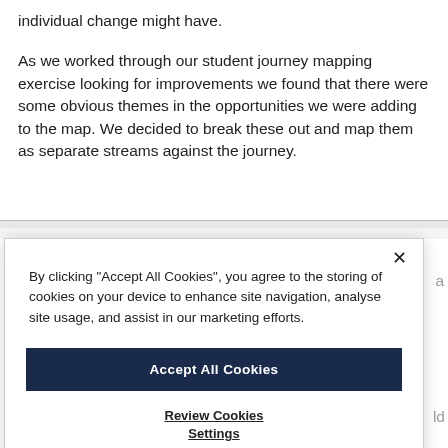individual change might have.
As we worked through our student journey mapping exercise looking for improvements we found that there were some obvious themes in the opportunities we were adding to the map. We decided to break these out and map them as separate streams against the journey.
[Figure (screenshot): Cookie consent modal dialog box with close button (×), text about cookie policy, an 'Accept All Cookies' dark navy button, and a 'Review Cookies Settings' underlined link. Partially visible page content is visible behind the modal.]